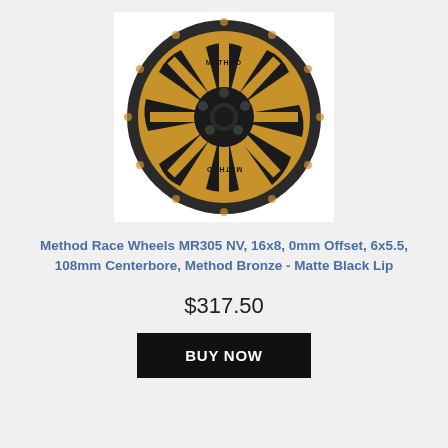[Figure (photo): Method Race Wheels MR305 NV wheel in Method Bronze with Matte Black Lip, showing spoked alloy wheel design with bolted beadlock-style ring]
Method Race Wheels MR305 NV, 16x8, 0mm Offset, 6x5.5, 108mm Centerbore, Method Bronze - Matte Black Lip
$317.50
BUY NOW